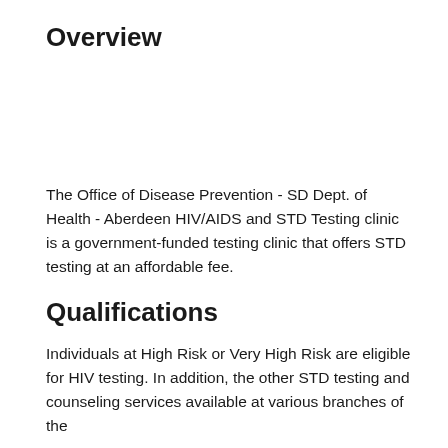Overview
The Office of Disease Prevention - SD Dept. of Health - Aberdeen HIV/AIDS and STD Testing clinic is a government-funded testing clinic that offers STD testing at an affordable fee.
Qualifications
Individuals at High Risk or Very High Risk are eligible for HIV testing. In addition, the other STD testing and counseling services available at various branches of the clinic for...